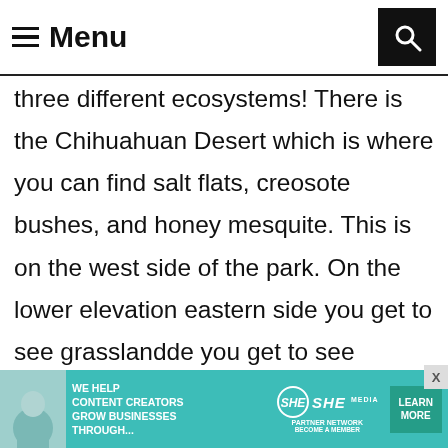Menu
three different ecosystems! There is the Chihuahuan Desert which is where you can find salt flats, creosote bushes, and honey mesquite. This is on the west side of the park. On the lower elevation eastern side you get to see grassland pinyon pines, and j
The canyon interior maples, velvet ash, deciduous trees fed by springs. Then, above
[Figure (infographic): Advertisement banner: SHE Media Partner Network. Text reads 'We help content creators grow businesses through...' with a Learn More button.]